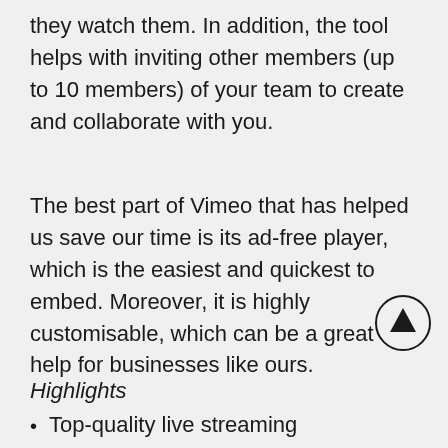they watch them. In addition, the tool helps with inviting other members (up to 10 members) of your team to create and collaborate with you.
The best part of Vimeo that has helped us save our time is its ad-free player, which is the easiest and quickest to embed. Moreover, it is highly customisable, which can be a great help for businesses like ours.
Highlights
Top-quality live streaming